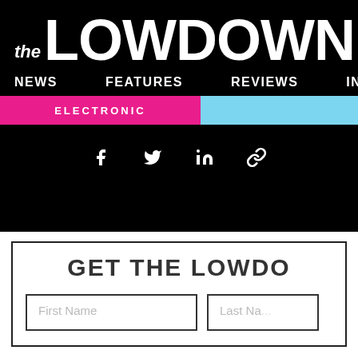the LOWDOWN
NEWS   FEATURES   REVIEWS   INTRODUCING
ELECTRONIC
[Figure (other): Social share icons: Facebook, Twitter, LinkedIn, Link]
GET THE LOWDO...
First Name
Last Na...